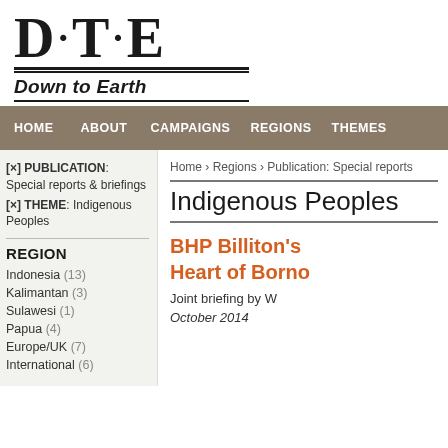[Figure (logo): Down to Earth logo with stylized DtE letters and 'Down to Earth' subtitle]
HOME  ABOUT  CAMPAIGNS  REGIONS  THEMES
[x] PUBLICATION: Special reports & briefings
[x] THEME: Indigenous Peoples
REGION
Indonesia (13)
Kalimantan (3)
Sulawesi (1)
Papua (4)
Europe/UK (7)
International (6)
Home › Regions › Publication: Special reports
Indigenous Peoples
BHP Billiton's Heart of Borno
Joint briefing by W
October 2014